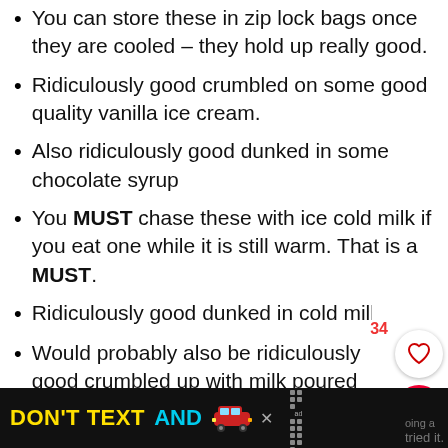You can store these in zip lock bags once they are cooled – they hold up really good.
Ridiculously good crumbled on some good quality vanilla ice cream.
Also ridiculously good dunked in some chocolate syrup
You MUST chase these with ice cold milk if you eat one while it is still warm. That is a MUST.
Ridiculously good dunked in cold milk till sog
Would probably also be ridiculously good crumbled up with milk poured over them –